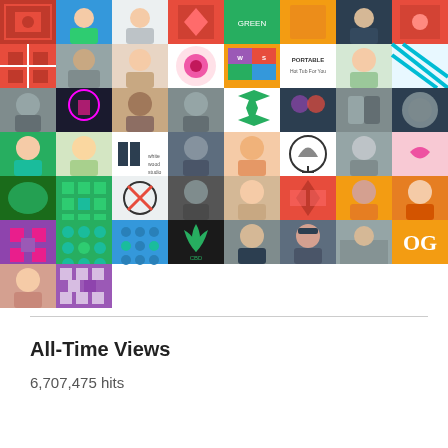[Figure (other): A grid of approximately 58 profile avatars and logos, arranged in 7 rows of up to 8 columns each. The avatars include photographs of people, geometric/patterned icons, brand logos, and illustrated thumbnails.]
All-Time Views
6,707,475 hits